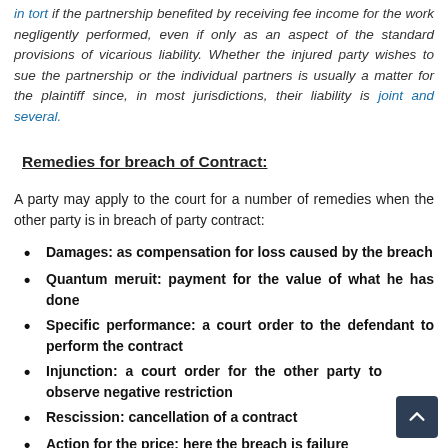in tort if the partnership benefited by receiving fee income for the work negligently performed, even if only as an aspect of the standard provisions of vicarious liability. Whether the injured party wishes to sue the partnership or the individual partners is usually a matter for the plaintiff since, in most jurisdictions, their liability is joint and several.
Remedies for breach of Contract:
A party may apply to the court for a number of remedies when the other party is in breach of party contract:
Damages: as compensation for loss caused by the breach
Quantum meruit: payment for the value of what he has done
Specific performance: a court order to the defendant to perform the contract
Injunction: a court order for the other party to observe negative restriction
Rescission: cancellation of a contract
Action for the price: here the breach is failure to...